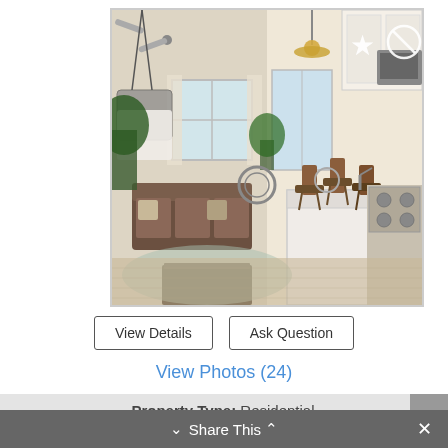[Figure (photo): Interior photo of a residential home showing an open-plan living room and kitchen area with a sofa, hanging chair, ceiling fan, kitchen island with bar stools, and modern decor.]
View Details
Ask Question
View Photos (24)
Property Type: Residential
# of Bedrooms: 3
# of Bathrooms: 2.5
Square Footage: 1430
Share This